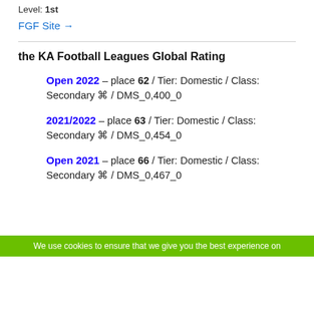Level: 1st
FGF Site →
the KA Football Leagues Global Rating
Open 2022 – place 62 / Tier: Domestic / Class: Secondary ⌘ / DMS_0,400_0
2021/2022 – place 63 / Tier: Domestic / Class: Secondary ⌘ / DMS_0,454_0
Open 2021 – place 66 / Tier: Domestic / Class: Secondary ⌘ / DMS_0,467_0
We use cookies to ensure that we give you the best experience on